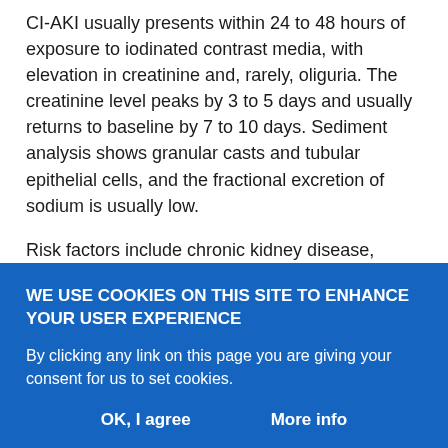CI-AKI usually presents within 24 to 48 hours of exposure to iodinated contrast media, with elevation in creatinine and, rarely, oliguria. The creatinine level peaks by 3 to 5 days and usually returns to baseline by 7 to 10 days. Sediment analysis shows granular casts and tubular epithelial cells, and the fractional excretion of sodium is usually low.
Risk factors include chronic kidney disease, diabetes, proteinuria, volume depletion, and concomitant exposure to other nephrotoxins. Procedure-related factors include higher-osmolality contrast media, higher volume given, multiple administrations of iodinated contrast media, and intra-arterial administration with first-pass effect [2,6]
WE USE COOKIES ON THIS SITE TO ENHANCE YOUR USER EXPERIENCE
By clicking any link on this page you are giving your consent for us to set cookies.
OK, I agree    More info